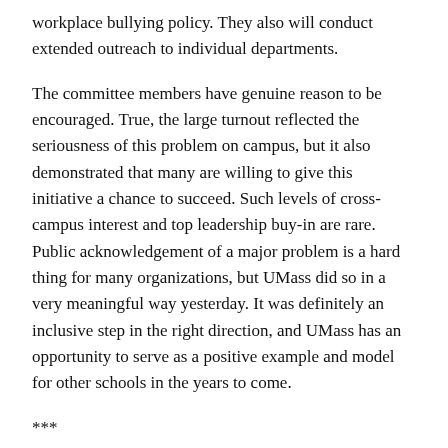workplace bullying policy. They also will conduct extended outreach to individual departments.
The committee members have genuine reason to be encouraged. True, the large turnout reflected the seriousness of this problem on campus, but it also demonstrated that many are willing to give this initiative a chance to succeed. Such levels of cross-campus interest and top leadership buy-in are rare. Public acknowledgement of a major problem is a hard thing for many organizations, but UMass did so in a very meaningful way yesterday. It was definitely an inclusive step in the right direction, and UMass has an opportunity to serve as a positive example and model for other schools in the years to come.
***
I’d like to offer special thanks to the committee members who worked most extensively with me to help develop the keynote address and to host my visit: Derek Doughty, Amy Brodigan, and Joe Connolly.
The symposium was buoyed by active support of many union leaders at UMass Amherst, a public employer that is heavily unionized. I’ll have more about that in a moment.